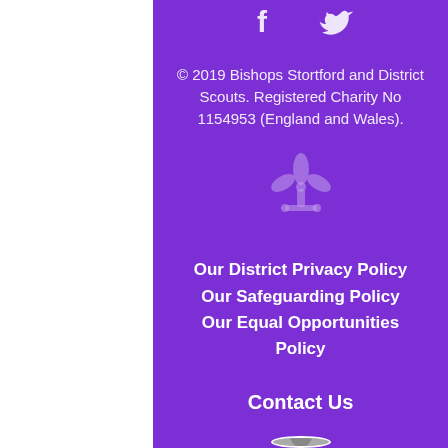[Figure (illustration): Social media icons: Facebook (f) and Twitter (bird) in white on purple background]
© 2019 Bishops Stortford and District Scouts. Registered Charity No 1154953 (England and Wales).
[Figure (logo): Scouts fleur-de-lis logo in semi-transparent white on purple background]
Our District Privacy Policy
Our Safeguarding Policy
Our Equal Opportunities Policy
Contact Us
[Figure (photo): Small circular avatar photo of a person]